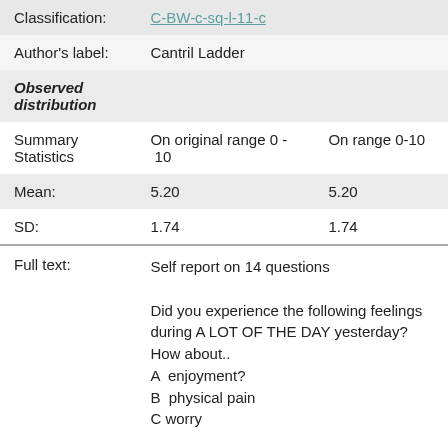|  |  |  |
| --- | --- | --- |
| Classification: | C-BW-c-sq-l-11-c |  |
| Author's label: | Cantril Ladder |  |
| Observed distribution |  |  |
| Summary Statistics | On original range 0 - 10 | On range 0-10 |
| Mean: | 5.20 | 5.20 |
| SD: | 1.74 | 1.74 |
Full text: Self report on 14 questions

Did you experience the following feelings during A LOT OF THE DAY yesterday? How about..
A  enjoyment?
B  physical pain
C  worry